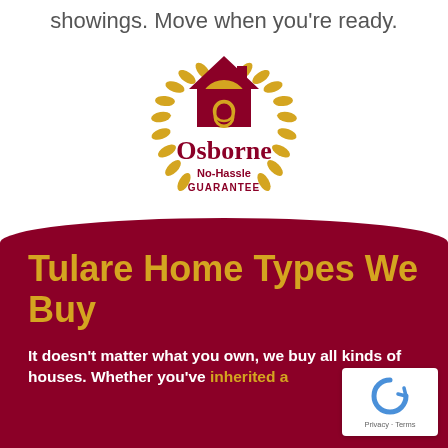showings. Move when you're ready.
[Figure (logo): Osborne No-Hassle Guarantee seal/badge logo with a house icon, golden laurel wreath, and dark red text reading 'Osborne No-Hassle GUARANTEE']
Tulare Home Types We Buy
It doesn't matter what you own, we buy all kinds of houses. Whether you've inherited a house, the bank has started a foreclosure...